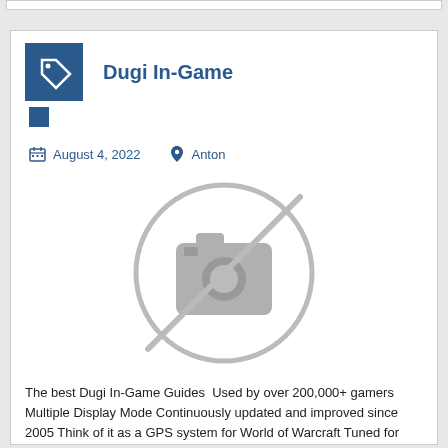Dugi In-Game
August 4, 2022   Anton
[Figure (other): Placeholder image: a grey camera icon with a diagonal line through it inside a circle]
The best Dugi In-Game Guides  Used by over 200,000+ gamers Multiple Display Mode Continuously updated and improved since 2005 Think of it as a GPS system for World of Warcraft Tuned for Every Race and Class 3D Model Viewer